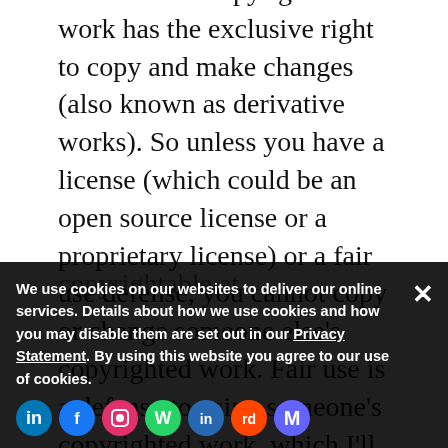owner of the copyrighted work has the exclusive right to copy and make changes (also known as derivative works). So unless you have a license (which could be an open source license or a proprietary license) or a fair use defense, you cannot copy or change someone else's copyrighted work. Fair use is a defense to using someone's copyrighted work, which I'll discuss shortly.
The good news is that the Supreme Court did not rule that Oracle's declaring code was copyrightable. It explicitly chose to sidestep this question and to decide the case on narrower
We use cookies on our websites to deliver our online services. Details about how we use cookies and how you may disable them are set out in our Privacy Statement. By using this website you agree to our use of cookies.